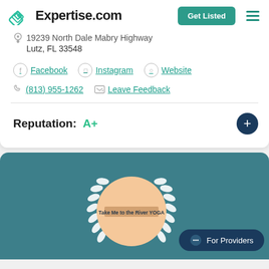[Figure (logo): Expertise.com logo with teal diamond icon and bold text]
19239 North Dale Mabry Highway
Lutz, FL 33548
Facebook  Instagram  Website
(813) 955-1262  Leave Feedback
Reputation:  A+
[Figure (illustration): Teal background section with laurel wreath badge circle containing 'Take Me to the River YOGA' text, and a 'For Providers' chat button]